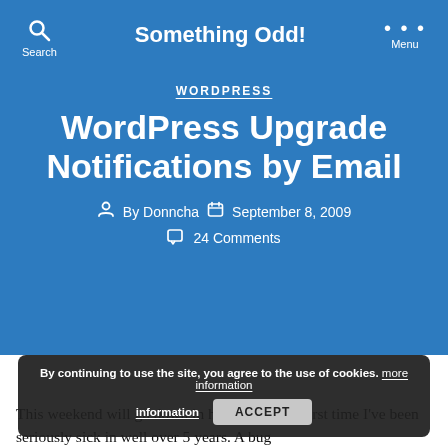Something Odd!
WORDPRESS
WordPress Upgrade Notifications by Email
By Donncha  September 8, 2009  24 Comments
By continuing to use the site, you agree to the use of cookies. more information ACCEPT
This weekend will go down in history. It's the first time I've been seriously sick in well over 5 years. A bug